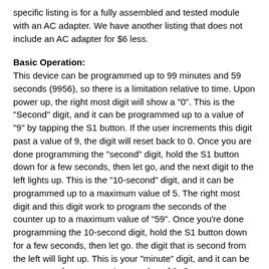specific listing is for a fully assembled and tested module with an AC adapter.  We have another listing that does not include an AC adapter for $6 less.
Basic Operation:
This device can be programmed up to 99 minutes and 59 seconds (9956), so there is a limitation relative to time.   Upon power up, the right most digit will show a "0".  This is the "Second" digit, and it can be programmed up to a value of "9" by tapping the S1 button.  If the user increments this digit past a value of 9, the digit will reset back to 0.  Once you are done programming the "second" digit, hold the S1 button down for a few seconds, then let go, and the next digit to the left lights up.  This is the "10-second" digit, and it can be programmed up to a maximum value of 5.  The right most digit and this digit work to program the seconds of the counter up to a maximum value of "59".  Once you're done programming the 10-second digit, hold the S1 button down for a few seconds, then let go.  the digit that is second from the left will light up.  This is your "minute" digit, and it can be programmed up to a maximum value of 9.  Once you are done programming this digit, hold the S1 button down again for a few seconds, and then let go.  The left most digit lights up, and this is your